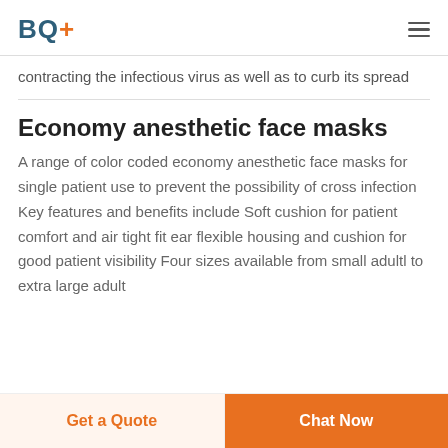BQ+
contracting the infectious virus as well as to curb its spread
Economy anesthetic face masks
A range of color coded economy anesthetic face masks for single patient use to prevent the possibility of cross infection Key features and benefits include Soft cushion for patient comfort and air tight fit ear flexible housing and cushion for good patient visibility Four sizes available from small adultl to extra large adult